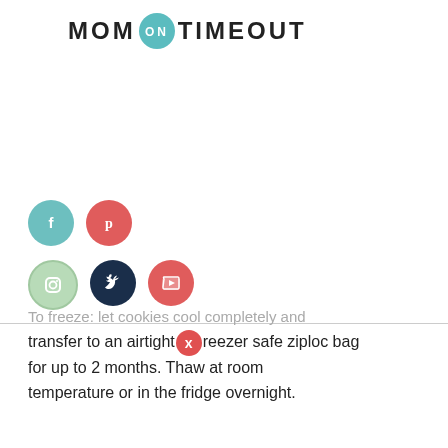MOM ON TIMEOUT
[Figure (infographic): Social media share buttons: Facebook (teal circle), Pinterest (red circle), Instagram (light green circle outline), Twitter (dark navy circle), YouTube (red circle)]
To freeze: let cookies cool completely and transfer to an airtight freezer safe ziploc bag for up to 2 months. Thaw at room temperature or in the fridge overnight.
Grinch Cookies FAQs
What size cookie scoop did you use?
I used a medium sized scoop which is equal